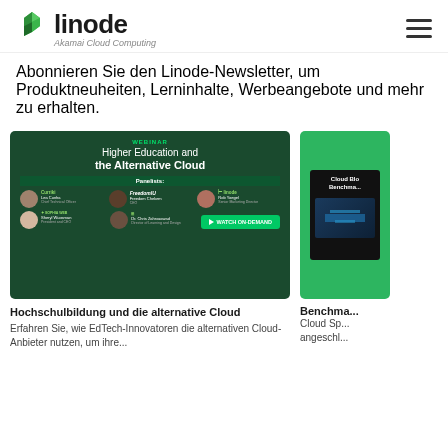[Figure (logo): Linode / Akamai Cloud Computing logo with green leaf icon]
Abonnieren Sie den Linode-Newsletter, um Produktneuheiten, Lerninhalte, Werbeangebote und mehr zu erhalten.
[Figure (screenshot): Webinar promo image: Higher Education and the Alternative Cloud, with panelists from Curriki, FreedomChekers, Linode, Sophia Web, and others. WATCH ON-DEMAND button.]
Hochschulbildung und die alternative Cloud
Erfahren Sie, wie EdTech-Innovatoren die alternativen Cloud-Anbieter nutzen, um ihre...
Benchma...
Cloud Sp... angeschl...